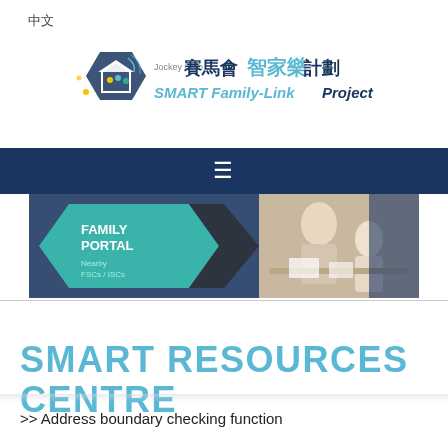中文
[Figure (logo): Jockey Club SMART Family-Link Project logo with Chinese text 賽馬會智家樂計劃]
[Figure (screenshot): Dark navy navigation bar with hamburger menu icon]
[Figure (photo): Banner showing FAMILY PORTAL with Nearby FSCs/ISCs text and photo of people working together at a table]
SMART RESOURCES CENTRE
>> Address boundary checking function